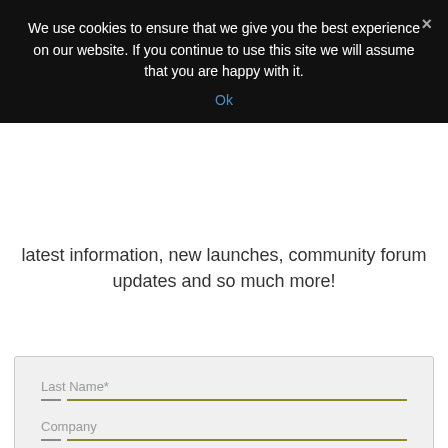We use cookies to ensure that we give you the best experience on our website. If you continue to use this site we will assume that you are happy with it.
Ok
latest information, new launches, community forum updates and so much more!
[Figure (screenshot): Web form with fields: Last Name* and Company, each with a short dash and a golden underline, followed by a reCAPTCHA 'I'm not a robot' checkbox widget. A Contact button and a chat icon button appear in the bottom right.]